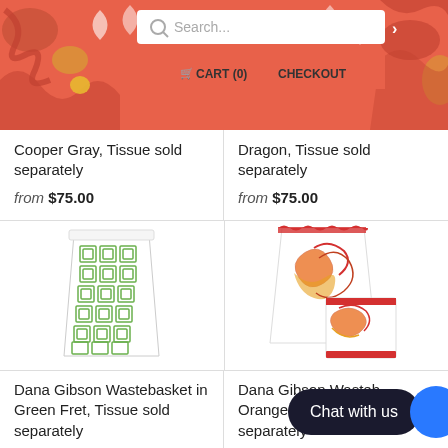[Figure (screenshot): E-commerce website header with coral/orange decorative pattern background, search bar, cart and checkout navigation]
Cooper Gray, Tissue sold separately
from $75.00
Dragon, Tissue sold separately
from $75.00
[Figure (photo): Dana Gibson Wastebasket in Green Fret pattern - white wastebasket with green geometric fret pattern]
[Figure (photo): Dana Gibson Wastebasket in Orange Dragon pattern - white wastebasket with red/orange dragon illustration]
Dana Gibson Wastebasket in Green Fret, Tissue sold separately
from $75.00
Dana Gibson Wastebasket in Orange Dragon, Tissue sold separately
from $75.00
[Figure (screenshot): Chat with us button overlay in dark rounded rectangle with blue circle]